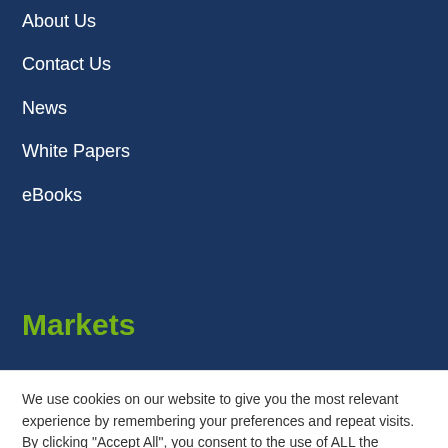About Us
Contact Us
News
White Papers
eBooks
Markets
Commodity market
We use cookies on our website to give you the most relevant experience by remembering your preferences and repeat visits. By clicking "Accept All", you consent to the use of ALL the cookies. However, you may visit "Cookie Settings" to provide a controlled consent.
Cookie Settings
Accept All